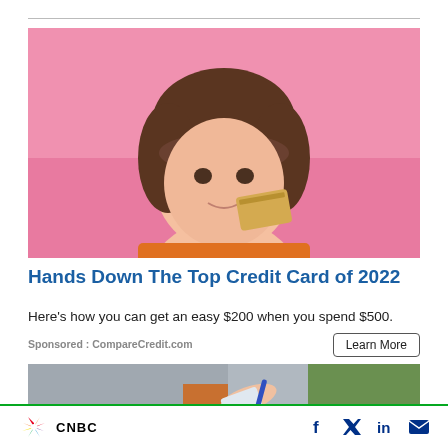[Figure (photo): Young woman with dark hair holding a gold/tan credit card near her face, against a pink background, wearing an orange top.]
Hands Down The Top Credit Card of 2022
Here's how you can get an easy $200 when you spend $500.
Sponsored : CompareCredit.com
Learn More
[Figure (photo): Person handing a card or document to another person, outdoor setting with greenery, partial view.]
CNBC logo with social media icons: Facebook, Twitter, LinkedIn, Email